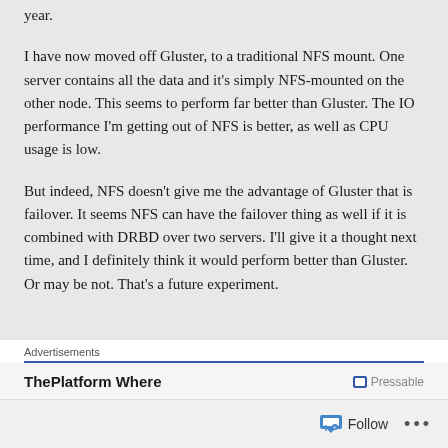year.
I have now moved off Gluster, to a traditional NFS mount. One server contains all the data and it's simply NFS-mounted on the other node. This seems to perform far better than Gluster. The IO performance I'm getting out of NFS is better, as well as CPU usage is low.
But indeed, NFS doesn't give me the advantage of Gluster that is failover. It seems NFS can have the failover thing as well if it is combined with DRBD over two servers. I'll give it a thought next time, and I definitely think it would perform better than Gluster. Or may be not. That's a future experiment.
Advertisements
ThePlatform Where
Follow ...